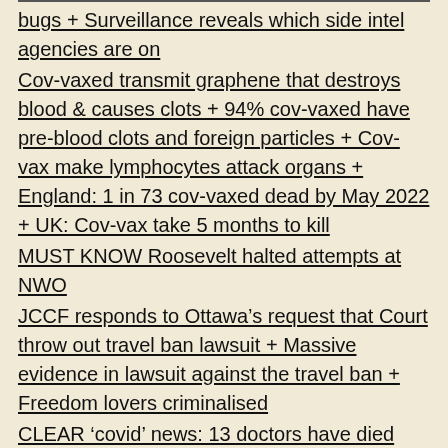bugs + Surveillance reveals which side intel agencies are on
Cov-vaxed transmit graphene that destroys blood & causes clots + 94% cov-vaxed have pre-blood clots and foreign particles + Cov-vax make lymphocytes attack organs + England: 1 in 73 cov-vaxed dead by May 2022 + UK: Cov-vax take 5 months to kill
MUST KNOW Roosevelt halted attempts at NWO
JCCF responds to Ottawa’s request that Court throw out travel ban lawsuit + Massive evidence in lawsuit against the travel ban + Freedom lovers criminalised
CLEAR ‘covid’ news: 13 doctors have died after mandatory vax + Documentary Uninformed Consent